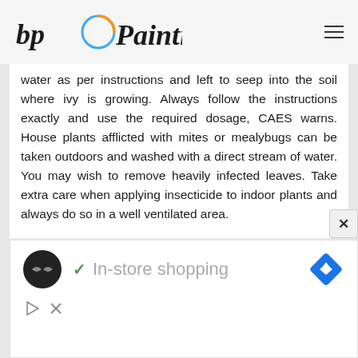bp Painting
water as per instructions and left to seep into the soil where ivy is growing. Always follow the instructions exactly and use the required dosage, CAES warns. House plants afflicted with mites or mealybugs can be taken outdoors and washed with a direct stream of water. You may wish to remove heavily infected leaves. Take extra care when applying insecticide to indoor plants and always do so in a well ventilated area.
[Figure (infographic): Advertisement banner with circular logo showing double arrow icon, a green checkmark with text 'In-store shopping' in grey, and a blue diamond-shaped navigation icon on the right. Below are a play/ad icon and a close X icon.]